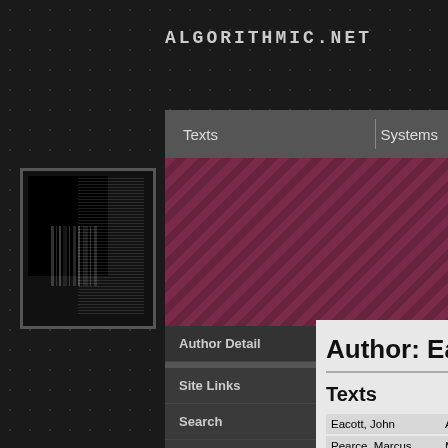ALGORITHMIC.NET
Texts
Systems
[Figure (screenshot): Thumbnail image showing a black and white barcode/matrix style graphic]
Author Detail
Site Links
Search
Contact
Author: Eac
Texts
| Eacott, John | Angliss, S |
| Pearce, Marcus | Mirand |
| Cole, Tim | Alexander, A |
| Masayuki | Spiegel, Laur |
citation.
Eacott, John  (2007) Co
behaviour of generative m